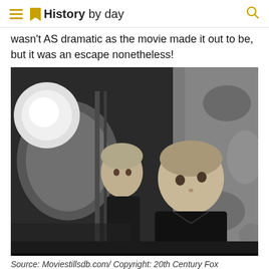History by day
wasn’t AS dramatic as the movie made it out to be, but it was an escape nonetheless!
[Figure (photo): Black and white photograph of two children peeking around a large cylindrical object against a stone wall, appearing to be hiding or spying]
Source: Moviestillsdb.com/ Copyright: 20th Century Fox